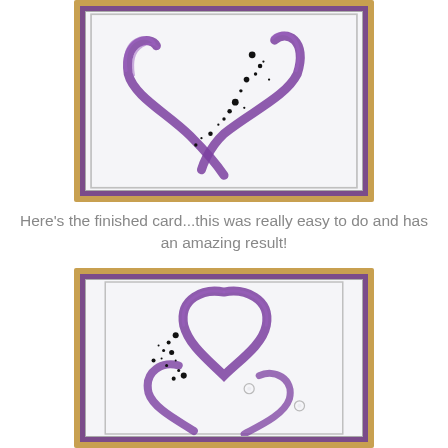[Figure (photo): A handmade greeting card with a tan/gold outer border, purple inner mat, and white center panel featuring abstract purple brushstroke art resembling a heart shape with black ink splatter dots.]
Here's the finished card...this was really easy to do and has an amazing result!
[Figure (photo): The finished handmade greeting card showing a close-up with tan outer border, purple mat, silver line border, and white panel with abstract purple heart brushstroke design and black ink splatter dots plus rhinestone accents.]